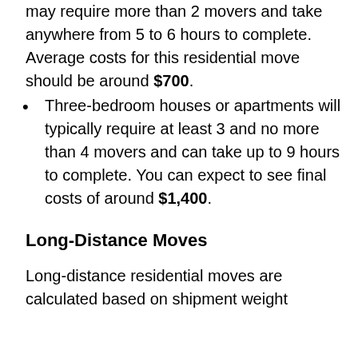may require more than 2 movers and take anywhere from 5 to 6 hours to complete. Average costs for this residential move should be around $700.
Three-bedroom houses or apartments will typically require at least 3 and no more than 4 movers and can take up to 9 hours to complete. You can expect to see final costs of around $1,400.
Long-Distance Moves
Long-distance residential moves are calculated based on shipment weight